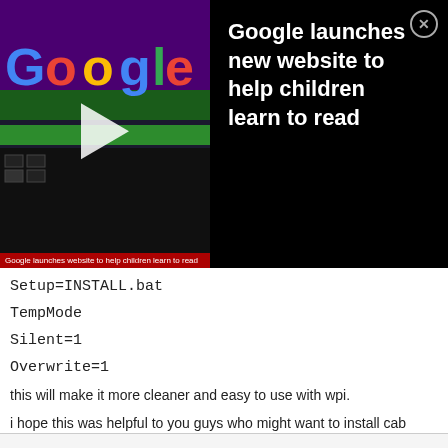[Figure (screenshot): Video ad overlay showing a Google logo video thumbnail on the left with a play button, a red caption bar reading 'Google launches website to help children learn to read', and black panel on right with white bold text 'Google launches new website to help children learn to read' and a close (X) button.]
Setup=INSTALL.bat
TempMode
Silent=1
Overwrite=1
this will make it more cleaner and easy to use with wpi.
i hope this was helpful to you guys who might want to install cab addons with wpi or on vista.
NOTE: ONLY WORKS WITH THE ADDONS THAT HAS "inf" FILES
Edited January 22, 2008 by shahed